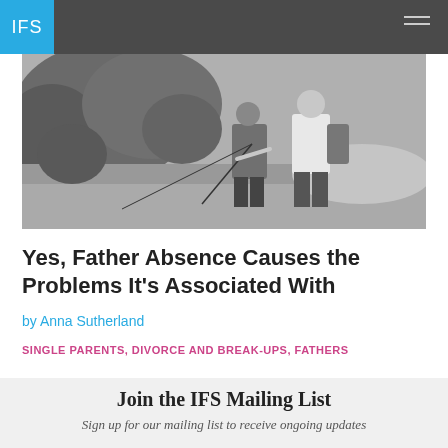IFS
[Figure (photo): Black and white photo of two people fishing, one teaching the other, outdoors near water with foliage in the background.]
Yes, Father Absence Causes the Problems It's Associated With
by Anna Sutherland
SINGLE PARENTS, DIVORCE AND BREAK-UPS, FATHERS
Join the IFS Mailing List
Sign up for our mailing list to receive ongoing updates